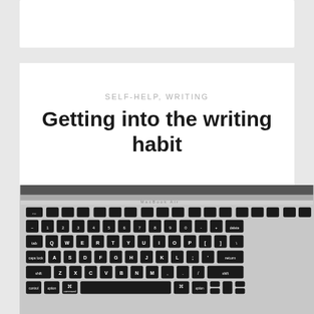[Figure (photo): Top portion of a white card or panel, partially visible at the top of the page]
SELF-HELP, WRITING
Getting into the writing habit
[Figure (photo): Black and white close-up photograph of a MacBook Air keyboard, showing all key rows including the QWERTY layout, number row, and bottom modifier keys.]